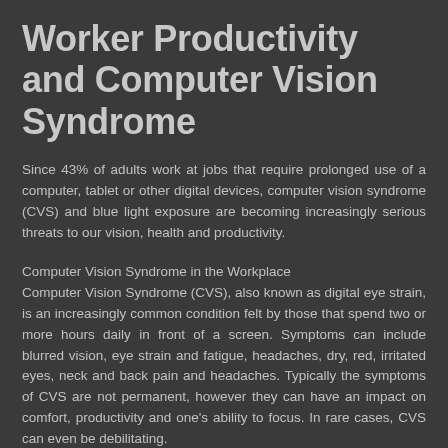Worker Productivity and Computer Vision Syndrome
Since 43% of adults work at jobs that require prolonged use of a computer, tablet or other digital devices, computer vision syndrome (CVS) and blue light exposure are becoming increasingly serious threats to our vision, health and productivity.
Computer Vision Syndrome in the Workplace
Computer Vision Syndrome (CVS), also known as digital eye strain, is an increasingly common condition felt by those that spend two or more hours daily in front of a screen. Symptoms can include blurred vision, eye strain and fatigue, headaches, dry, red, irritated eyes, neck and back pain and headaches. Typically the symptoms of CVS are not permanent, however they can have an impact on comfort, productivity and one's ability to focus. In rare cases, CVS can even be debilitating.